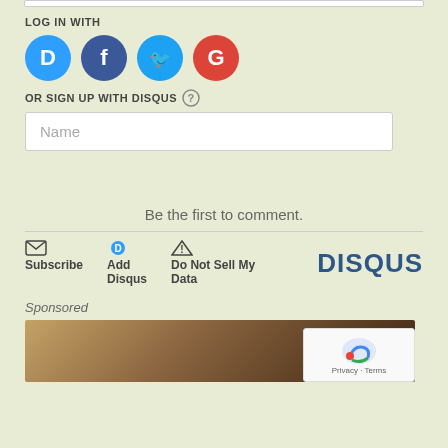LOG IN WITH
[Figure (screenshot): Social login icons: Disqus (blue), Facebook (dark blue), Twitter (light blue), Google (red)]
OR SIGN UP WITH DISQUS ?
Name
Be the first to comment.
Subscribe | Add Disqus | Do Not Sell My Data | DISQUS
Sponsored